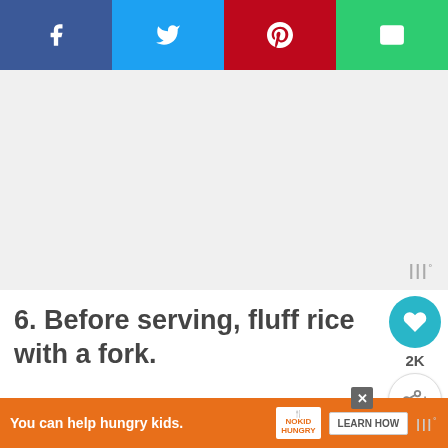[Figure (infographic): Social sharing bar with four colored buttons: Facebook (dark blue), Twitter (light blue), Pinterest (red), Email (green), each with white icons]
[Figure (other): Gray advertisement placeholder area with Whisk watermark logo bottom right]
6. Before serving, fluff rice with a fork.
[Figure (infographic): Heart/like button (teal circle) with 2K count label and share button (white circle) on the right side]
[Figure (photo): Food photo strip at the bottom showing a blurred dish with a What's Next banner overlay: Air Fryer Cracker Barr...]
[Figure (infographic): Orange advertisement bar at the bottom: 'You can help hungry kids.' with No Kid Hungry badge and LEARN HOW button]